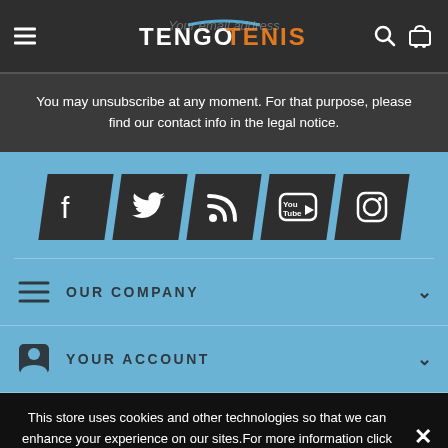[Figure (screenshot): TengoTenis website header with hamburger menu, logo, search icon, and cart icon on dark background]
You may unsubscribe at any moment. For that purpose, please find our contact info in the legal notice.
[Figure (infographic): Social media icons row: Facebook, Twitter, RSS, YouTube, Instagram on dark skewed tiles over light blue background]
OUR COMPANY
YOUR ACCOUNT
This store uses cookies and other technologies so that we can enhance your experience on our sites.For more information click here